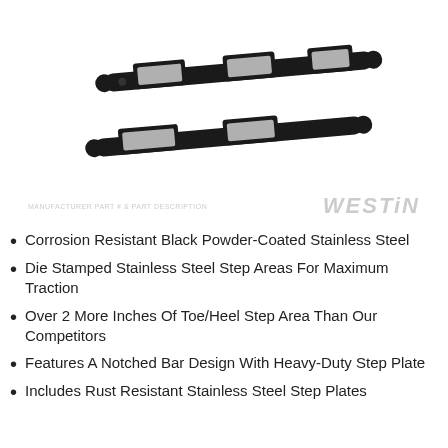[Figure (photo): Two black powder-coated stainless steel step bars with die-stamped step areas, shown at an angle against a white background. Westin brand watermark visible.]
Corrosion Resistant Black Powder-Coated Stainless Steel
Die Stamped Stainless Steel Step Areas For Maximum Traction
Over 2 More Inches Of Toe/Heel Step Area Than Our Competitors
Features A Notched Bar Design With Heavy-Duty Step Plate
Includes Rust Resistant Stainless Steel Step Plates